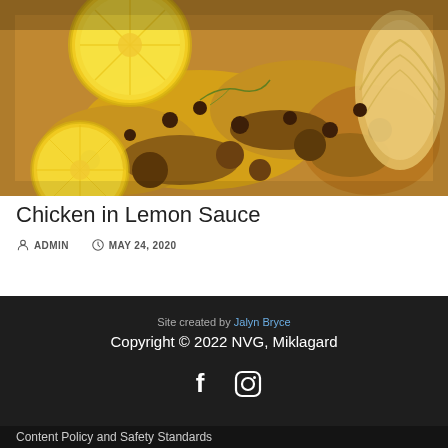[Figure (photo): Close-up photo of roasted chicken pieces with lemon slices and herbs in a golden sauce]
Chicken in Lemon Sauce
ADMIN   MAY 24, 2020
Site created by Jalyn Bryce
Copyright © 2022 NVG, Miklagard
[Figure (illustration): Facebook and Instagram social media icons]
Content Policy and Safety Standards